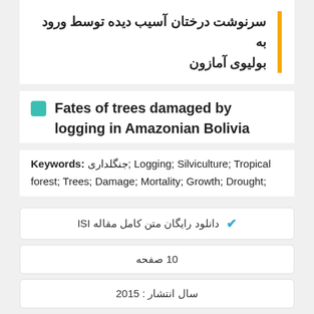سرنوشت درختان آسیب دیده توسط ورود به بولیوی آمازون
Fates of trees damaged by logging in Amazonian Bolivia
Keywords: جنگلداری; Logging; Silviculture; Tropical forest; Trees; Damage; Mortality; Growth; Drought;
✓ دانلود رایگان متن کامل مقاله ISI
10 صفحه
سال انتشار : 2015